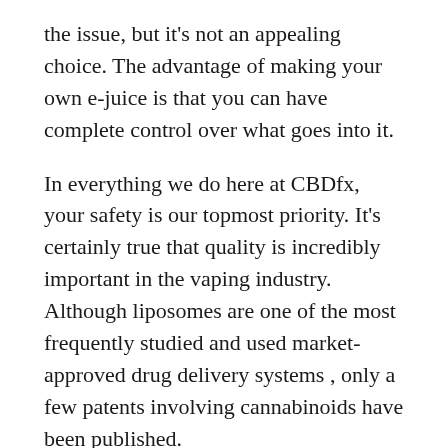the issue, but it's not an appealing choice. The advantage of making your own e-juice is that you can have complete control over what goes into it.
In everything we do here at CBDfx, your safety is our topmost priority. It's certainly true that quality is incredibly important in the vaping industry. Although liposomes are one of the most frequently studied and used market-approved drug delivery systems , only a few patents involving cannabinoids have been published.
Because they sought and got an injunction preventing the culling program continuing pending a court determining whether DOE were acting reasonably or could have used alternatives such as catch neuter and release. Although if the court treated the issue as urgent and heard the matter, there would at least be a resolution. Whether the cat is feral or considered a pet